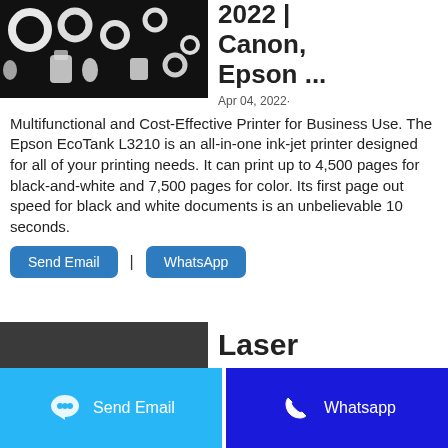[Figure (photo): Photo of white ink tank components/parts arranged on a dark background]
2022 | Canon, Epson ...
Apr 04, 2022·
Multifunctional and Cost-Effective Printer for Business Use. The Epson EcoTank L3210 is an all-in-one ink-jet printer designed for all of your printing needs. It can print up to 4,500 pages for black-and-white and 7,500 pages for color. Its first page out speed for black and white documents is an unbelievable 10 seconds.
Send Email | WhatsApp
[Figure (photo): Dark/grey background image (partial, bottom of page) associated with Laser section]
Laser
Send Email
Whatsapp